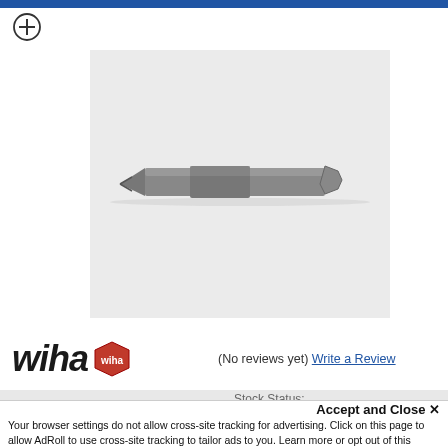[Figure (photo): A Wiha screwdriver bit — long hexagonal shank with a Phillips/cross-head tip on the left and a hex drive socket on the right, metallic grey finish, on a light grey background.]
[Figure (logo): Wiha brand logo in italic bold dark text with a circular red badge/emblem to the right.]
(No reviews yet) Write a Review
Stock Status:
Accept and Close ✕
Your browser settings do not allow cross-site tracking for advertising. Click on this page to allow AdRoll to use cross-site tracking to tailor ads to you. Learn more or opt out of this AdRoll tracking by clicking here. This message only appears once.